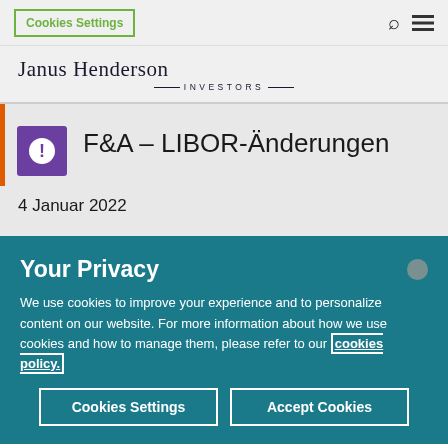Cookies Settings
[Figure (logo): Janus Henderson Investors logo]
F&A – LIBOR-Änderungen
4 Januar 2022
Your Privacy
We use cookies to improve your experience and to personalize content on our website. For more information about how we use cookies and how to manage them, please refer to our cookies policy.
Cookies Settings | Accept Cookies